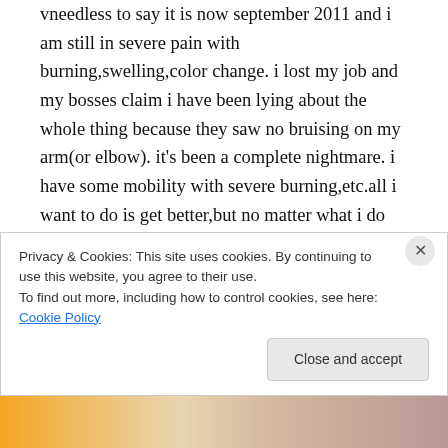vneedless to say it is now september 2011 and i am still in severe pain with burning,swelling,color change. i lost my job and my bosses claim i have been lying about the whole thing because they saw no bruising on my arm(or elbow). it's been a complete nightmare. i have some mobility with severe burning,etc.all i want to do is get better,but no matter what i do it's not happening. i do at home physical therapy,and go to the y for weight bearing excerise. ican barely hold a 2lb weight. i'm not getting better. workmans comp is
Privacy & Cookies: This site uses cookies. By continuing to use this website, you agree to their use.
To find out more, including how to control cookies, see here: Cookie Policy